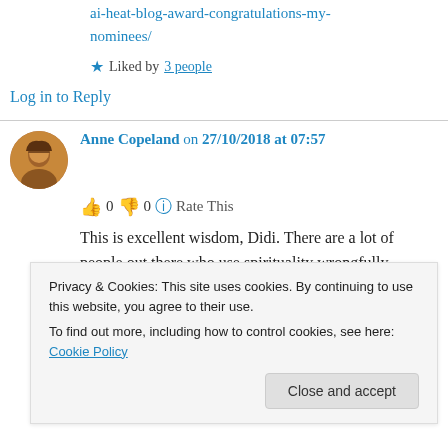ai-heat-blog-award-congratulations-my-nominees/
★ Liked by 3 people
Log in to Reply
Anne Copeland on 27/10/2018 at 07:57
👍 0 👎 0 ℹ Rate This
This is excellent wisdom, Didi. There are a lot of people out there who use spirituality wrongfully
Log in to Reply
Privacy & Cookies: This site uses cookies. By continuing to use this website, you agree to their use.
To find out more, including how to control cookies, see here: Cookie Policy